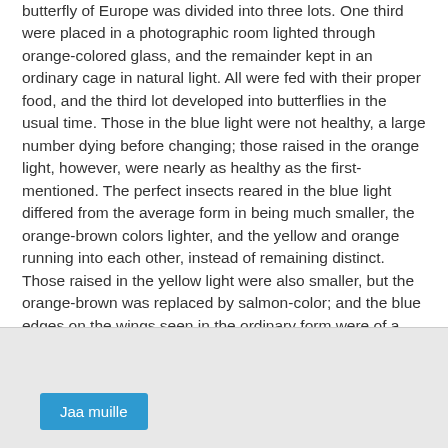butterfly of Europe was divided into three lots. One third were placed in a photographic room lighted through orange-colored glass, and the remainder kept in an ordinary cage in natural light. All were fed with their proper food, and the third lot developed into butterflies in the usual time. Those in the blue light were not healthy, a large number dying before changing; those raised in the orange light, however, were nearly as healthy as the first-mentioned. The perfect insects reared in the blue light differed from the average form in being much smaller, the orange-brown colors lighter, and the yellow and orange running into each other, instead of remaining distinct. Those raised in the yellow light were also smaller, but the orange-brown was replaced by salmon-color; and the blue edges on the wings seen in the ordinary form were of a dull slate. If changes so great as these can be produced in the course of a single experiment, it is probable that a continance of the same upon a succession of individuals will develop some striking results.
[Figure (other): UI panel with a light gray background containing a 'Jaa muille' button in blue]